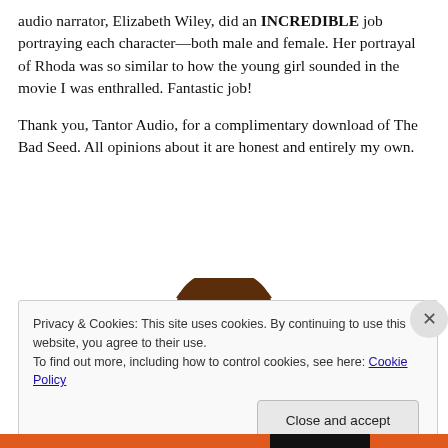audio narrator, Elizabeth Wiley, did an INCREDIBLE job portraying each character—both male and female. Her portrayal of Rhoda was so similar to how the young girl sounded in the movie I was enthralled. Fantastic job!
Thank you, Tantor Audio, for a complimentary download of The Bad Seed. All opinions about it are honest and entirely my own.
[Figure (illustration): Partial illustration of a cartoon woman's head with brown hair, partially visible at the top, cropped by the cookie consent banner.]
Privacy & Cookies: This site uses cookies. By continuing to use this website, you agree to their use.
To find out more, including how to control cookies, see here: Cookie Policy
Close and accept